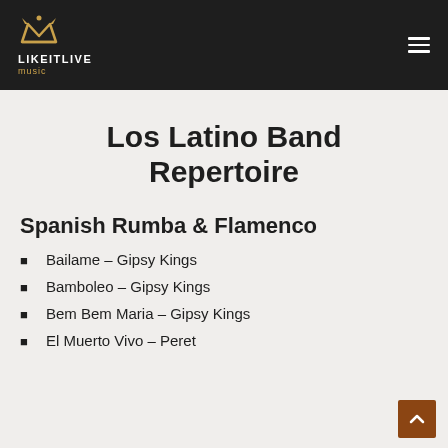LIKEITLIVE music
Los Latino Band Repertoire
Spanish Rumba & Flamenco
Bailame – Gipsy Kings
Bamboleo – Gipsy Kings
Bem Bem Maria – Gipsy Kings
El Muerto Vivo – Peret